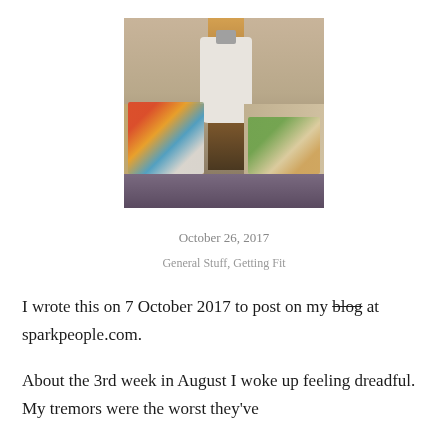[Figure (photo): Interior room photo showing a cluttered kitchen/hallway area with a white shirt hanging, colorful items on the left counter, and lighter items on the right counter, with a corridor visible in the background.]
October 26, 2017
General Stuff, Getting Fit
I wrote this on 7 October 2017 to post on my blog at sparkpeople.com.
About the 3rd week in August I woke up feeling dreadful. My tremors were the worst they've